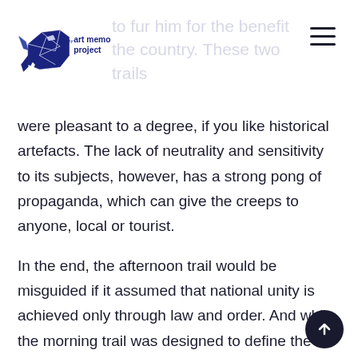art memory project
were pleasant to a degree, if you like historical artefacts. The lack of neutrality and sensitivity to its subjects, however, has a strong pong of propaganda, which can give the creeps to anyone, local or tourist.
In the end, the afternoon trail would be misguided if it assumed that national unity is achieved only through law and order. And while the morning trail was designed to define the genetic components of Malaysia, I can't help but feel that...